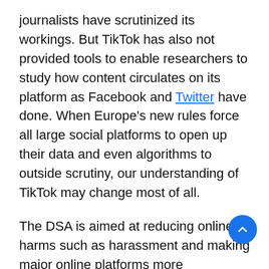journalists have scrutinized its workings. But TikTok has also not provided tools to enable researchers to study how content circulates on its platform as Facebook and Twitter have done. When Europe's new rules force all large social platforms to open up their data and even algorithms to outside scrutiny, our understanding of TikTok may change most of all.
The DSA is aimed at reducing online harms such as harassment and making major online platforms more accountable for their effects on elections and other aspects of society, with large social networks and search engines the primary targets. The law